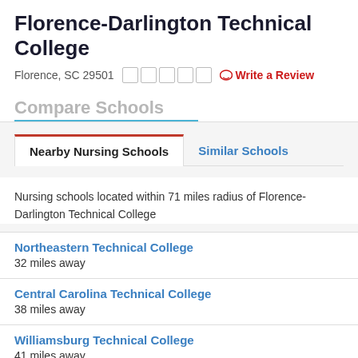Florence-Darlington Technical College
Florence, SC 29501
Write a Review
Compare Schools
Nearby Nursing Schools
Similar Schools
Nursing schools located within 71 miles radius of Florence-Darlington Technical College
Northeastern Technical College
32 miles away
Central Carolina Technical College
38 miles away
Williamsburg Technical College
41 miles away
Richmond Community College